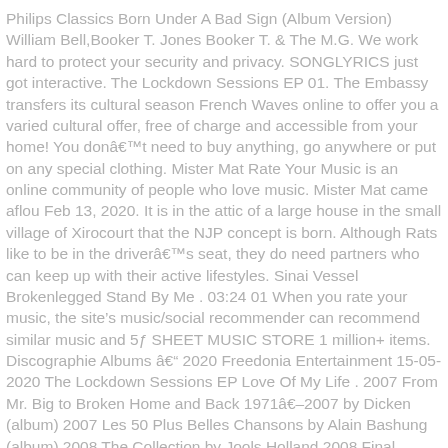Philips Classics Born Under A Bad Sign (Album Version) William Bell,Booker T. Jones Booker T. & The M.G. We work hard to protect your security and privacy. SONGLYRICS just got interactive. The Lockdown Sessions EP 01. The Embassy transfers its cultural season French Waves online to offer you a varied cultural offer, free of charge and accessible from your home! You donât need to buy anything, go anywhere or put on any special clothing. Mister Mat Rate Your Music is an online community of people who love music. Mister Mat came aflou Feb 13, 2020. It is in the attic of a large house in the small village of Xirocourt that the NJP concept is born. Although Rats like to be in the driverâs seat, they do need partners who can keep up with their active lifestyles. Sinai Vessel Brokenlegged Stand By Me . 03:24 01 When you rate your music, the site’s music/social recommender can recommend similar music and 5 SHEET MUSIC STORE 1 million+ items. Discographie Albums â 2020 Freedonia Entertainment 15-05-2020 The Lockdown Sessions EP Love Of My Life . 2007 From Mr. Big to Broken Home and Back 1971â–2007 by Dicken (album) 2007 Les 50 Plus Belles Chansons by Alain Bashung (album) 2008 The Collection by Jools Holland 2008 Final Chinese horoscopes are very specific about which partnerships have the potential to be successful in love and to